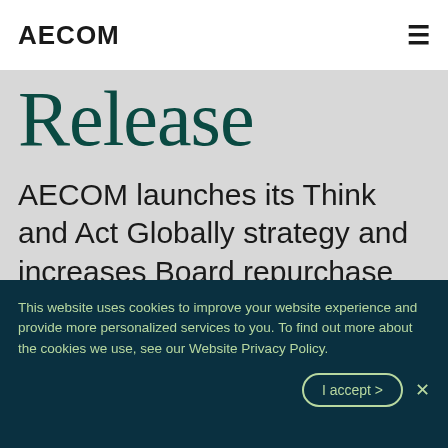AECOM
Release
AECOM launches its Think and Act Globally strategy and increases Board repurchase
This website uses cookies to improve your website experience and provide more personalized services to you. To find out more about the cookies we use, see our Website Privacy Policy.